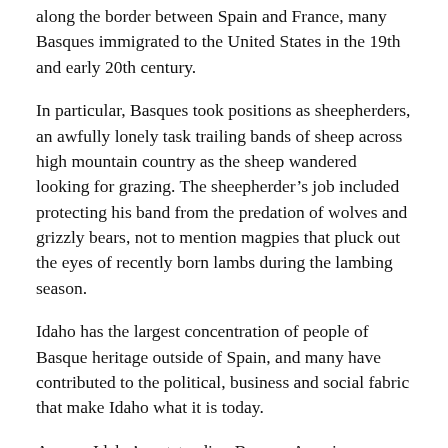along the border between Spain and France, many Basques immigrated to the United States in the 19th and early 20th century.
In particular, Basques took positions as sheepherders, an awfully lonely task trailing bands of sheep across high mountain country as the sheep wandered looking for grazing. The sheepherder’s job included protecting his band from the predation of wolves and grizzly bears, not to mention magpies that pluck out the eyes of recently born lambs during the lambing season.
Idaho has the largest concentration of people of Basque heritage outside of Spain, and many have contributed to the political, business and social fabric that make Idaho what it is today.
Among Idaho’s outstanding Basque-Americans are Ben Ysursa, the current Idaho Secretary of State, and Pete Cenarrusa, the former speaker of the Idaho house and long-time secretary of state. Across Idaho’s border with Nevada resided for many years a former governor and United States Senator, Paul Laxalt, probably President Ronald Reagan’s closest friend.
Father Ritchey and I discussed the many other fine Basques we know, folks with last names like Etchart, Figuren, or Ubarragua